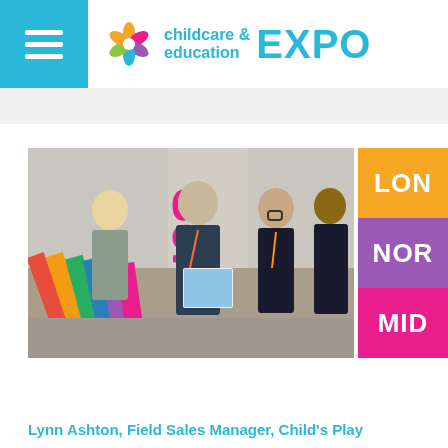childcare & education EXPO
[Figure (photo): Exhibition hall scene showing women browsing colorful children's books/materials at a display table. A 'Seminar' banner is visible in the background. Three women are looking at a book together.]
LON
NOR
MID
Lynn Ashton, Field Sales Manager, Child's Play